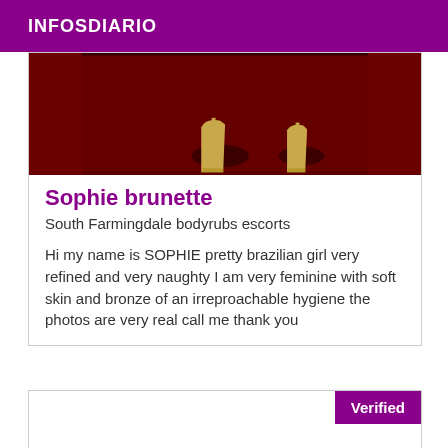INFOSDIARIO
[Figure (photo): Close-up photo of feet wearing gold/tan high heel sandals on a dark red carpet background]
Sophie brunette
South Farmingdale bodyrubs escorts
Hi my name is SOPHIE pretty brazilian girl very refined and very naughty I am very feminine with soft skin and bronze of an irreproachable hygiene the photos are very real call me thank you
Verified